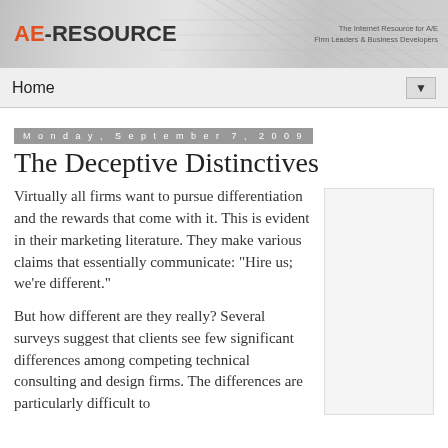AE-Resource — The Internet Resource for A/E Firm Leaders & Business Developers
Home
Monday, September 7, 2009
The Deceptive Distinctives
Virtually all firms want to pursue differentiation and the rewards that come with it. This is evident in their marketing literature. They make various claims that essentially communicate: "Hire us; we're different."
But how different are they really? Several surveys suggest that clients see few significant differences among competing technical consulting and design firms. The differences are particularly difficult to
[Figure (other): Blank white/light grey sidebar advertisement or content box]